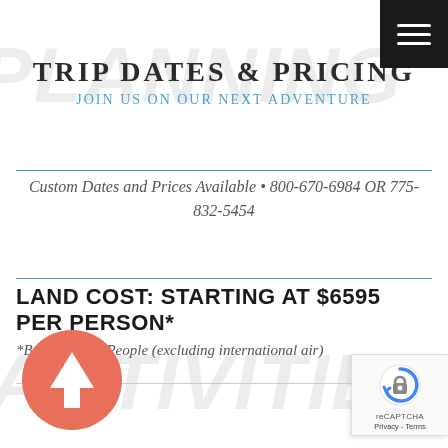TRIP DATES & PRICING
JOIN US ON OUR NEXT ADVENTURE
Custom Dates and Prices Available • 800-670-6984 OR 775-832-5454
LAND COST: STARTING AT $6595 PER PERSON*
*Based on 4-6 People (excluding international air)
[Figure (illustration): Salmon/coral colored circle with white upward-pointing arrow navigation icon]
[Figure (logo): Google reCAPTCHA badge with logo and Privacy - Terms links]